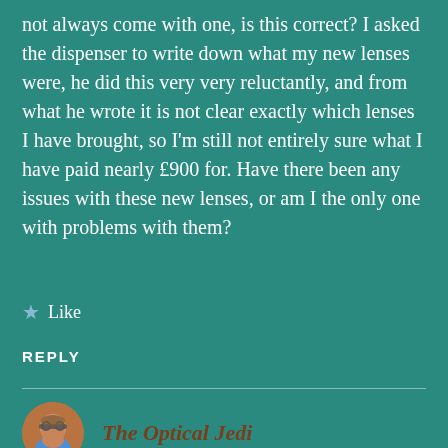not always come with one, is this correct? I asked the dispenser to write down what my new lenses were, he did this very very reluctantly, and from what he wrote it is not clear exactly which lenses I have brought, so I'm still not entirely sure what I have paid nearly £900 for. Have there been any issues with these new lenses, or am I the only one with problems with them?
★ Like
REPLY
[Figure (photo): Circular avatar photo of a man with glasses and grey hair, wearing a blue shirt]
The Optical Jedi